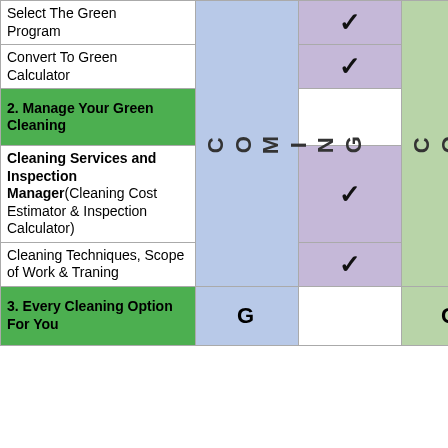| Feature | Col2 | Col3 | Col4 |
| --- | --- | --- | --- |
| Select The Green Program |  | ✓ |  |
| Convert To Green Calculator |  | ✓ |  |
| 2. Manage Your Green Cleaning |  |  |  |
| Cleaning Services and Inspection Manager(Cleaning Cost Estimator & Inspection Calculator) | COMING | ✓ | COMING |
| Cleaning Techniques, Scope of Work & Traning | COMING | ✓ | COMING |
| 3. Every Cleaning Option For You | COMING |  | COMING |